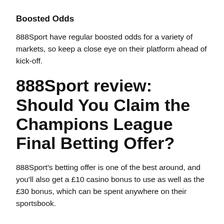Boosted Odds
888Sport have regular boosted odds for a variety of markets, so keep a close eye on their platform ahead of kick-off.
888Sport review: Should You Claim the Champions League Final Betting Offer?
888Sport's betting offer is one of the best around, and you'll also get a £10 casino bonus to use as well as the £30 bonus, which can be spent anywhere on their sportsbook.